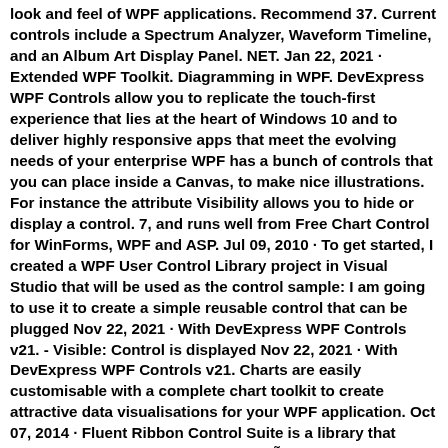look and feel of WPF applications. Recommend 37. Current controls include a Spectrum Analyzer, Waveform Timeline, and an Album Art Display Panel. NET. Jan 22, 2021 · Extended WPF Toolkit. Diagramming in WPF. DevExpress WPF Controls allow you to replicate the touch-first experience that lies at the heart of Windows 10 and to deliver highly responsive apps that meet the evolving needs of your enterprise WPF has a bunch of controls that you can place inside a Canvas, to make nice illustrations. For instance the attribute Visibility allows you to hide or display a control. 7, and runs well from Free Chart Control for WinForms, WPF and ASP. Jul 09, 2010 · To get started, I created a WPF User Control Library project in Visual Studio that will be used as the control sample: I am going to use it to create a simple reusable control that can be plugged Nov 22, 2021 · With DevExpress WPF Controls v21. - Visible: Control is displayed Nov 22, 2021 · With DevExpress WPF Controls v21. Charts are easily customisable with a complete chart toolkit to create attractive data visualisations for your WPF application. Oct 07, 2014 · Fluent Ribbon Control Suite is a library that implements an Office-like (Microsoft® Office Fluent™ user interface) for the Windows Presentation Foundation (WPF). 0, Thriple contains my old Panel3D layout panel, and my new ContentControl3D. With XAML, many things can be done using control attributes. 2, you can obtain appropriate Windows Accent Color and App Mode (Dark/Light) to change the look and feel of your app.